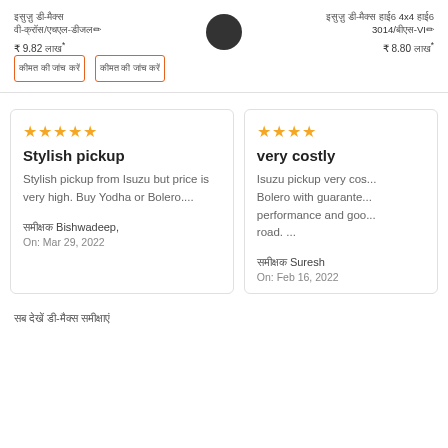इसुज़ु डी-मैक्स वी-क्रॉस/एचएल-डीजल ₹ 9.82 लाख*
इसुज़ु डी-मैक्स 4x4 हाई6 3014/बीएस-VI ₹ 8.80 लाख*
कीमत की जांच करें
कीमत की जांच करें
★★★★★ Stylish pickup — Stylish pickup from Isuzu but price is very high. Buy Yodha or Bolero.... — समीक्षक Bishwadeep, On: Mar 29, 2022
★★★★☆ very costly — Isuzu pickup very cos... Bolero with guarantee... performance and goo... road. ... — समीक्षक Suresh, On: Feb 16, 2022
सब देखें डी-मैक्स समीक्षाएं